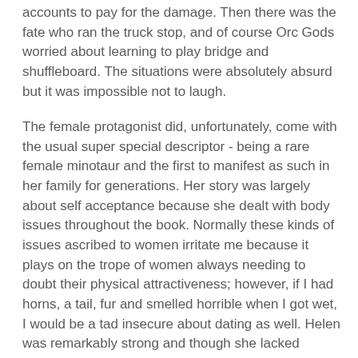accounts to pay for the damage.  Then there was the fate who ran the truck stop, and of course Orc Gods worried about learning to play bridge and shuffleboard.  The situations were absolutely absurd but it was impossible not to laugh.
The female protagonist did, unfortunately, come with the usual super special descriptor - being a rare female minotaur and the first to manifest as such in her family for generations.  Her story was largely about self acceptance because she dealt with body issues throughout the book.  Normally these kinds of issues ascribed to women irritate me because it plays on the trope of women always needing to doubt their physical attractiveness; however, if I had horns, a tail, fur and smelled horrible when I got wet, I would be a tad insecure about dating as well.  Helen was remarkably strong and though she lacked confidence in herself, she was unafraid to meet any challenge and even ended up saving Troy.
The male protagonist Troy was also a little trope laden. He is the Asian kid who is the perfect son, always gets good